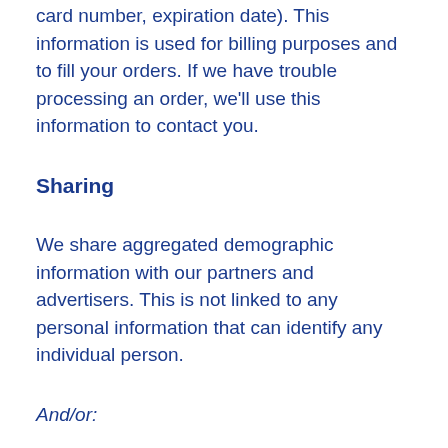card number, expiration date). This information is used for billing purposes and to fill your orders. If we have trouble processing an order, we'll use this information to contact you.
Sharing
We share aggregated demographic information with our partners and advertisers. This is not linked to any personal information that can identify any individual person.
And/or:
We use an outside shipping company to ship orders, and a credit card processing company